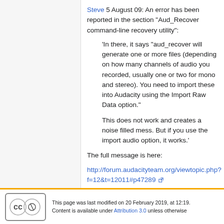Steve 5 August 09: An error has been reported in the section "Aud_Recover command-line recovery utility":
'In there, it says "aud_recover will generate one or more files (depending on how many channels of audio you recorded, usually one or two for mono and stereo). You need to import these into Audacity using the Import Raw Data option."'
This does not work and creates a noise filled mess. But if you use the import audio option, it works.'
The full message is here:
http://forum.audacityteam.org/viewtopic.php?f=12&t=12011#p47289
This page was last modified on 20 February 2019, at 12:19. Content is available under Attribution 3.0 unless otherwise